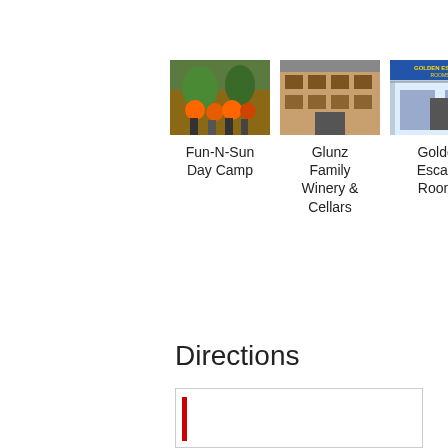[Figure (photo): Three thumbnail photos arranged in a row: Fun-N-Sun Day Camp (group of people in orange shirts outdoors), Glunz Family Winery & Cellars (brick building storefront), Golden Escape Rooms (building exterior with yellow signage)]
Fun-N-Sun Day Camp
Glunz Family Winery & Cellars
Golden Escape Rooms
Directions
[Figure (other): Directions box with a red vertical bar on the left side inside a bordered rectangle]